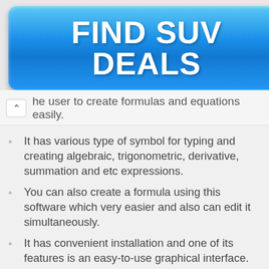[Figure (other): Blue glossy button banner with text FIND SUV DEALS]
he user to create formulas and equations easily.
It has various type of symbol for typing and creating algebraic, trigonometric, derivative, summation and etc expressions.
You can also create a formula using this software which very easier and also can edit it simultaneously.
It has convenient installation and one of its features is an easy-to-use graphical interface.
Has a tool which makes easier to copy a large standard of mathematical symbol and paste it at the various site and text/document files.
It supports different modules and major formats such as WMF, PICT, EPS, and GIF.